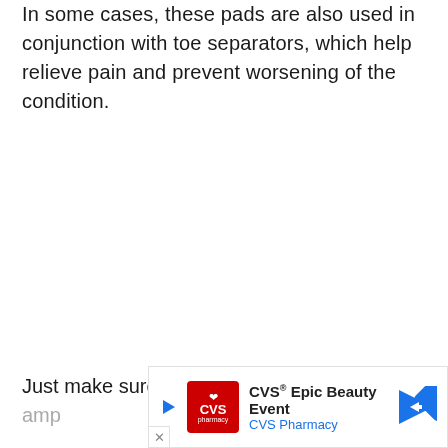In some cases, these pads are also used in conjunction with toe separators, which help relieve pain and prevent worsening of the condition.
Just make sure your running shoes have amp...
[Figure (other): CVS Epic Beauty Event advertisement banner with CVS Pharmacy logo, play/close buttons, and navigation arrow icon]